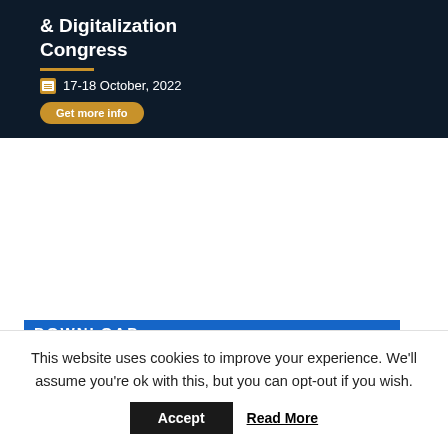[Figure (infographic): Dark navy banner showing '& Digitalization Congress' title, a gold divider line, a calendar icon with '17-18 October, 2022', and a gold 'Get more info' button]
[Figure (infographic): ADIPEC conference banner with ADNOC logo, date '31 October - 3 November 2022', location 'Abu Dhabi, United Arab Emirates', and 'Technical Conference' button, plus a blue DOWNLOAD strip]
This website uses cookies to improve your experience. We'll assume you're ok with this, but you can opt-out if you wish.
Accept
Read More